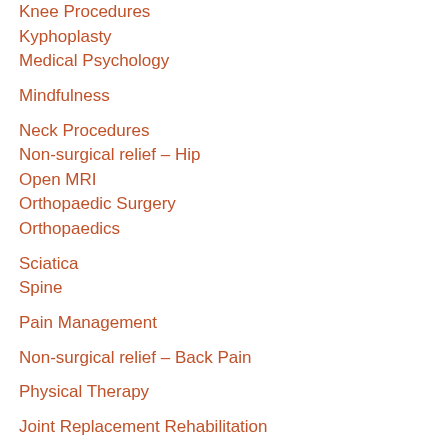Knee Procedures
Kyphoplasty
Medical Psychology
Mindfulness
Neck Procedures
Non-surgical relief – Hip
Open MRI
Orthopaedic Surgery
Orthopaedics
Sciatica
Spine
Pain Management
Non-surgical relief – Back Pain
Physical Therapy
Joint Replacement Rehabilitation
Shoulder – Frozen Shoulder
Shoulder – Non Surgical